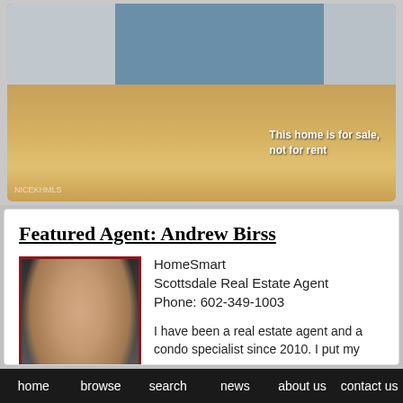[Figure (photo): Interior photo of an empty room with hardwood floors, blue accent wall, ceiling fan, and white walls. Overlaid text reads 'This home is for sale, not for rent'. Watermark 'NICEKHMLS' visible at bottom left.]
Featured Agent: Andrew Birss
[Figure (photo): Headshot of Andrew Birss, a man in a dark suit jacket and white shirt, smiling. Photo has a dark red/maroon border.]
HomeSmart
Scottsdale Real Estate Agent
Phone: 602-349-1003
I have been a real estate agent and a condo specialist since 2010. I put my
home   browse   search   news   about us   contact us